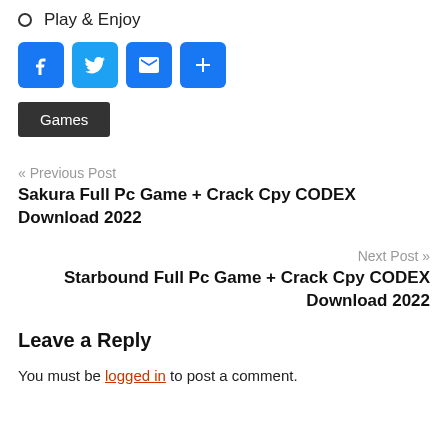Play & Enjoy
[Figure (other): Social share buttons: Facebook, Twitter, Email, Share (plus icon)]
Games
« Previous Post
Sakura Full Pc Game + Crack Cpy CODEX Download 2022
Next Post »
Starbound Full Pc Game + Crack Cpy CODEX Download 2022
Leave a Reply
You must be logged in to post a comment.